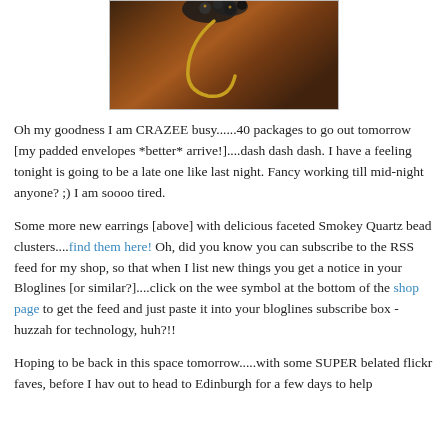[Figure (photo): Close-up photo of earrings with a gold hook wire and dark faceted bead clusters on a dark wooden surface background.]
Oh my goodness I am CRAZEE busy......40 packages to go out tomorrow [my padded envelopes *better* arrive!]....dash dash dash. I have a feeling tonight is going to be a late one like last night. Fancy working till mid-night anyone? ;) I am soooo tired.
Some more new earrings [above] with delicious faceted Smokey Quartz bead clusters....find them here! Oh, did you know you can subscribe to the RSS feed for my shop, so that when I list new things you get a notice in your Bloglines [or similar?]....click on the wee symbol at the bottom of the shop page to get the feed and just paste it into your bloglines subscribe box - huzzah for technology, huh?!!
Hoping to be back in this space tomorrow.....with some SUPER belated flickr faves, before I hav out to head to Edinburgh for a few days to help